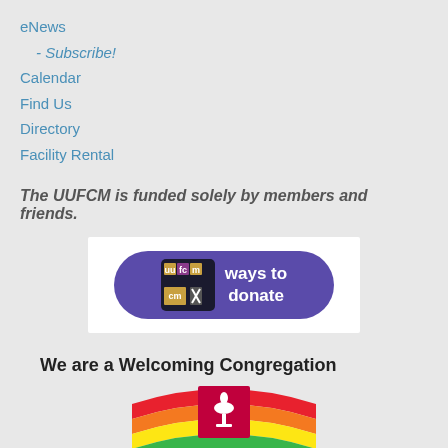eNews
- Subscribe!
Calendar
Find Us
Directory
Facility Rental
The UUFCM is funded solely by members and friends.
[Figure (logo): UUFCM 'ways to donate' button with purple pill-shaped background and logo]
We are a Welcoming Congregation
[Figure (logo): Welcoming Congregation LGBTQ rainbow logo with UU chalice symbol]